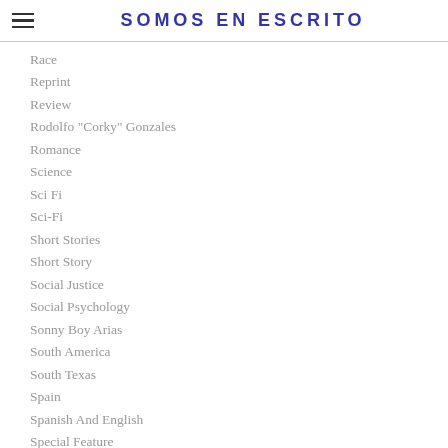SOMOS EN ESCRITO
Race
Reprint
Review
Rodolfo "Corky" Gonzales
Romance
Science
Sci Fi
Sci-Fi
Short Stories
Short Story
Social Justice
Social Psychology
Sonny Boy Arias
South America
South Texas
Spain
Spanish And English
Special Feature